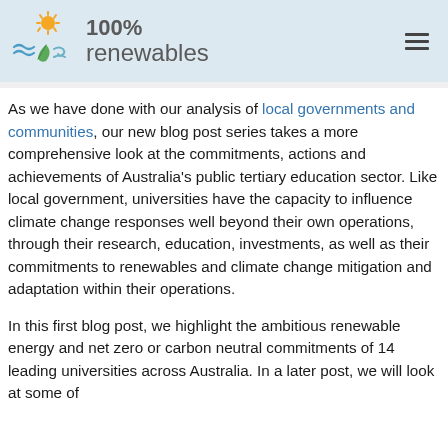[Figure (logo): 100% renewables logo with sun, water waves, leaf, and wind icons]
As we have done with our analysis of local governments and communities, our new blog post series takes a more comprehensive look at the commitments, actions and achievements of Australia's public tertiary education sector. Like local government, universities have the capacity to influence climate change responses well beyond their own operations, through their research, education, investments, as well as their commitments to renewables and climate change mitigation and adaptation within their operations.
In this first blog post, we highlight the ambitious renewable energy and net zero or carbon neutral commitments of 14 leading universities across Australia. In a later post, we will look at some of